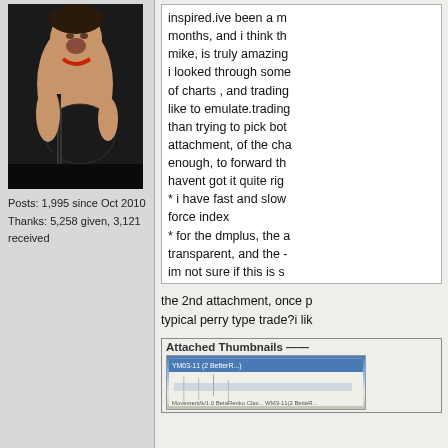[Figure (photo): Photo of a shirtless male guitarist performing on stage, playing a dark electric guitar, mouth open as if singing or shouting.]
Posts: 1,995 since Oct 2010
Thanks: 5,258 given, 3,121 received
inspired.ive been a m... months, and i think th... mike, is truly amazing... i looked through some... of charts , and trading... like to emulate.trading... than trying to pick bot... attachment, of the cha... enough, to forward th... havent got it quite rig... * i have fast and slow... force index
* for the dmplus, the a... transparent, and the -... im not sure if this is s... i just want these 2 ind... i really appreciate the... and max-td.
i am using better renk... which has a max rang... i also have a 2oo ma... orange.other mas are... 14 ma ema colors
the 2nd attachment, once p... typical perry type trade?i lik...
[Figure (screenshot): Attached Thumbnails section showing a partial screenshot of a chart labeled YM03-11 (2 BetterR...)]